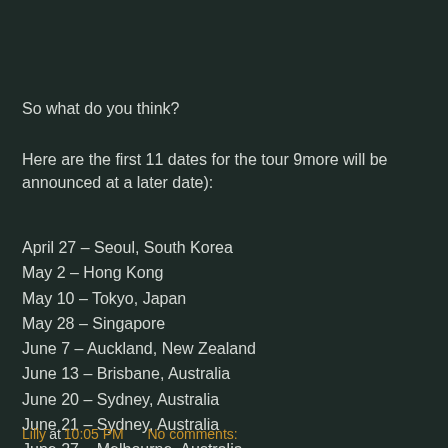So what do you think?
Here are the first 11 dates for the tour 9more will be announced at a later date):
April 27 – Seoul, South Korea
May 2 – Hong Kong
May 10 – Tokyo, Japan
May 28 – Singapore
June 7 – Auckland, New Zealand
June 13 – Brisbane, Australia
June 20 – Sydney, Australia
June 21 – Sydney, Australia
June 27 – Melbourne, Australia
June 28 – Melbourne, Australia
July 7 – Perth, Australia
Lilly at 10:05 PM   No comments: